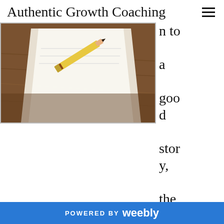Authentic Growth Coaching
[Figure (photo): Photo of a pencil resting on a white notepad/paper on a wooden desk surface]
n to a good story, the brain triggers the release of the hormone oxytocin. In lay terms, this is known as the relationship hormone. . . It's a hormone that orients us with compassion toward another. So it orients us toward collaboration. Think of that. Listening to a good story actually produces an orientation toward compassion and focus on the other."
Dr. Ronald Fry, Case Western Reserve University -
POWERED BY weebly